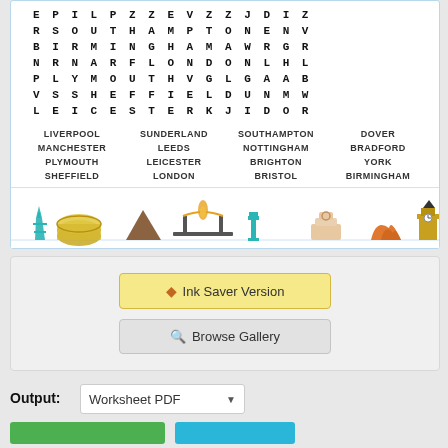[Figure (other): Word search puzzle showing UK cities with grid letters including SOUTHAMPTON, BIRMINGHAM, LONDON, PLYMOUTH, SHEFFIELD, LEICESTER visible in the grid]
LIVERPOOL  SUNDERLAND  SOUTHAMPTON  DOVER
MANCHESTER  LEEDS  NOTTINGHAM  BRADFORD
PLYMOUTH  LEICESTER  BRIGHTON  YORK
SHEFFIELD  LONDON  BRISTOL  BIRMINGHAM
[Figure (illustration): Row of world landmark illustrations: Eiffel Tower (teal), Colosseum (yellow-green), Pyramid (brown), Golden Gate Bridge (dark/flame), Column/pillar (teal), Big Ben-like cake, Sydney Opera House (orange), Big Ben (gold/dark)]
Ink Saver Version
Browse Gallery
Output:
Worksheet PDF